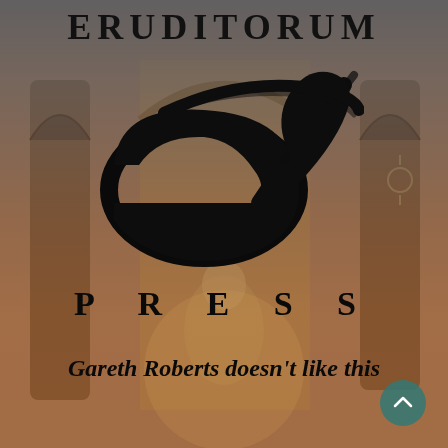[Figure (illustration): Fantasy/medieval scene with archways, a figure seated on a throne or pedestal, warm amber/orange tones overlaid with a dark blue-gray vignette gradient. Serves as background for the Eruditorum Press logo page.]
ERUDITORUM
[Figure (logo): Eruditorum Press logo: stylized 'ep' in flowing italic calligraphy script, black on transparent background.]
P R E S S
Gareth Roberts doesn't like this